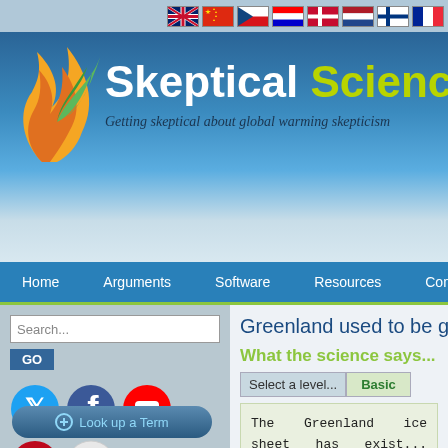[Figure (screenshot): Skeptical Science website header with flags, logo, site title and subtitle]
Skeptical Science - Getting skeptical about global warming skepticism
Greenland used to be gre...
What the science says...
Select a level... Basic
The Greenland ice sheet has exis... regions of Greenland that were... phenomenon.